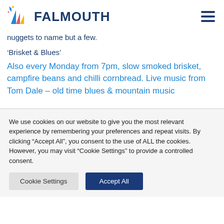FALMOUTH
nuggets to name but a few.
‘Brisket & Blues’
Also every Monday from 7pm, slow smoked brisket, campfire beans and chilli cornbread. Live music from Tom Dale – old time blues & mountain music
We use cookies on our website to give you the most relevant experience by remembering your preferences and repeat visits. By clicking “Accept All”, you consent to the use of ALL the cookies. However, you may visit "Cookie Settings" to provide a controlled consent.